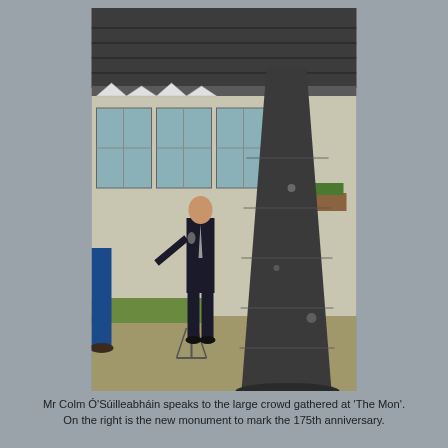[Figure (photo): A man in a dark suit speaks at a microphone on a tripod stand outside. Behind him is a building with large windows. To his right is a tall dark stone obelisk/monument. There is grass and gravel ground visible. Another person is partially visible on the left edge.]
Mr Colm Ó'Súilleabháin speaks to the large crowd gathered at 'The Mon'. On the right is the new monument to mark the 175th anniversary.
Well done to everyone involved in a great day!
The hope we get to keep this story. To keep Killarney in the...